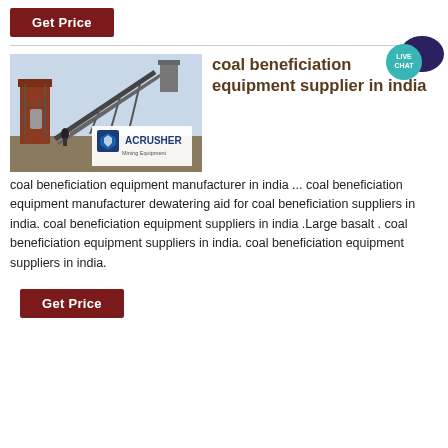Get Price
[Figure (photo): Photo of coal beneficiation/mining equipment (conveyor belts, industrial machinery) with ACRUSHER Mining Equipment logo overlay]
coal beneficiation equipment supplier in india
coal beneficiation equipment manufacturer in india ... coal beneficiation equipment manufacturer dewatering aid for coal beneficiation suppliers in india. coal beneficiation equipment suppliers in india .Large basalt . coal beneficiation equipment suppliers in india. coal beneficiation equipment suppliers in india.
Get Price